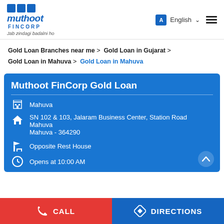[Figure (logo): Muthoot Fincorp logo with blue squares, italic text 'muthoot', 'FINCORP', and tagline 'Jab zindagi badalni ho']
A  English  ☰
Gold Loan Branches near me > Gold Loan in Gujarat > Gold Loan in Mahuva > Gold Loan in Mahuva
Muthoot FinCorp Gold Loan
Mahuva
SN 102 & 103, Jalaram Business Center, Station Road
Mahuva
Mahuva - 364290
Opposite Rest House
Opens at 10:00 AM
CALL  DIRECTIONS